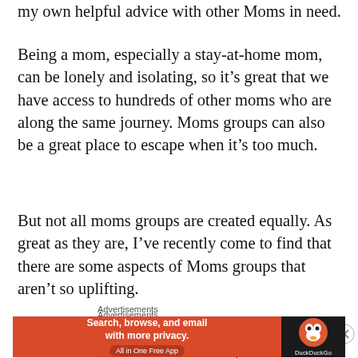my own helpful advice with other Moms in need.
Being a mom, especially a stay-at-home mom, can be lonely and isolating, so it's great that we have access to hundreds of other moms who are along the same journey. Moms groups can also be a great place to escape when it's too much.
But not all moms groups are created equally. As great as they are, I've recently come to find that there are some aspects of Moms groups that aren't so uplifting.
Advertisements
[Figure (screenshot): Advertisement banner showing the word 'Professionally' on a cream/off-white background]
Advertisements
[Figure (screenshot): DuckDuckGo advertisement: orange/red left panel with text 'Search, browse, and email with more privacy. All in One Free App' and dark right panel with DuckDuckGo duck logo and 'DuckDuckGo' text]